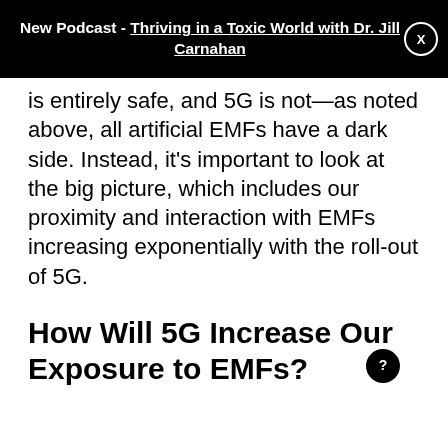New Podcast - Thriving in a Toxic World with Dr. Jill Carnahan
is entirely safe, and 5G is not—as noted above, all artificial EMFs have a dark side. Instead, it's important to look at the big picture, which includes our proximity and interaction with EMFs increasing exponentially with the roll-out of 5G.
How Will 5G Increase Our Exposure to EMFs?